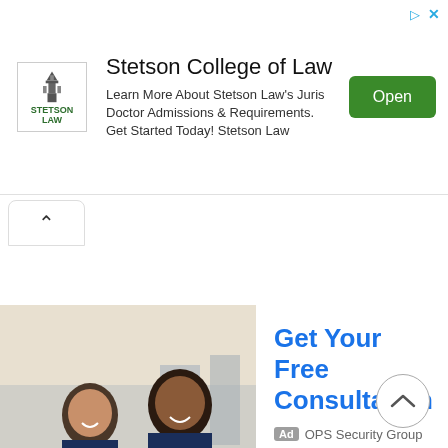[Figure (other): Stetson College of Law advertisement banner with logo, text, and Open button]
[Figure (other): Chevron up arrow tab button]
[Figure (photo): Two people in navy uniforms smiling in a lobby setting]
Get Your Free Consultation
Ad OPS Security Group
[Figure (other): Circle chevron up scroll button]